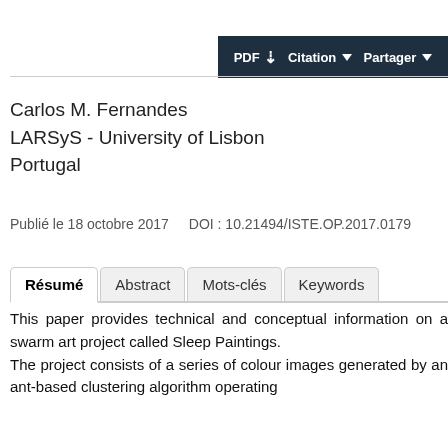[Figure (screenshot): Dark toolbar with PDF download, Citation, and Partager (share) buttons]
Carlos M. Fernandes
LARSyS - University of Lisbon
Portugal
Publié le 18 octobre 2017   DOI : 10.21494/ISTE.OP.2017.0179
Résumé   Abstract   Mots-clés   Keywords
This paper provides technical and conceptual information on a swarm art project called Sleep Paintings.
The project consists of a series of colour images generated by an ant-based clustering algorithm operating with...